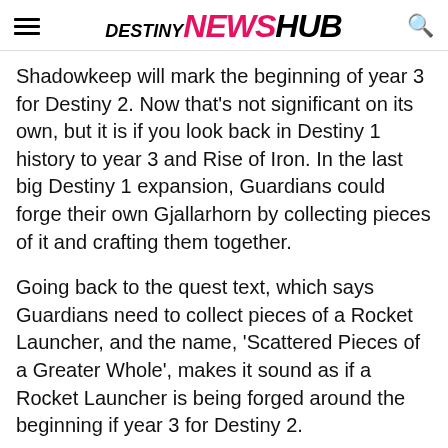DESTINY NEWS HUB
Shadowkeep will mark the beginning of year 3 for Destiny 2. Now that's not significant on its own, but it is if you look back in Destiny 1 history to year 3 and Rise of Iron. In the last big Destiny 1 expansion, Guardians could forge their own Gjallarhorn by collecting pieces of it and crafting them together.
Going back to the quest text, which says Guardians need to collect pieces of a Rocket Launcher, and the name, 'Scattered Pieces of a Greater Whole', makes it sound as if a Rocket Launcher is being forged around the beginning if year 3 for Destiny 2.
We think it would make total sense for Guardians to